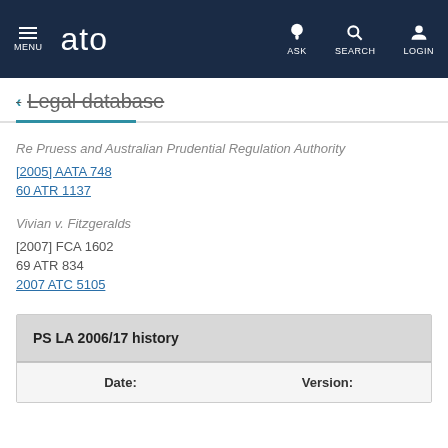MENU | ato | ASK | SEARCH | LOGIN
← Legal database
Re Pruess and Australian Prudential Regulation Authority
[2005] AATA 748
60 ATR 1137
Vivian v. Fitzgeralds
[2007] FCA 1602
69 ATR 834
2007 ATC 5105
| Date: | Version: |
| --- | --- |